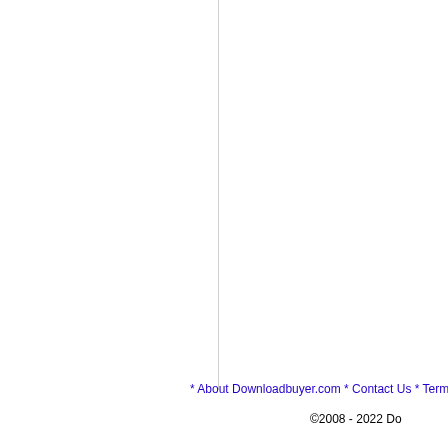* About Downloadbuyer.com * Contact Us * Term
©2008 - 2022 Do